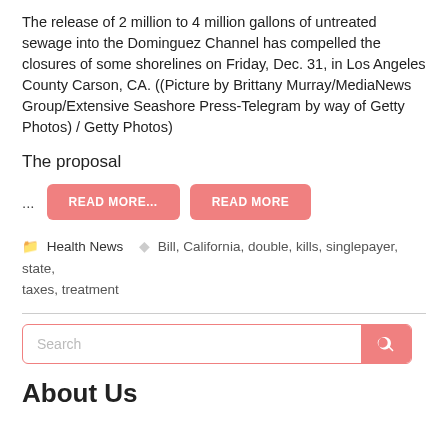The release of 2 million to 4 million gallons of untreated sewage into the Dominguez Channel has compelled the closures of some shorelines on Friday, Dec. 31, in Los Angeles County Carson, CA. ((Picture by Brittany Murray/MediaNews Group/Extensive Seashore Press-Telegram by way of Getty Photos) / Getty Photos)
The proposal
...
READ MORE...
READ MORE
Health News   Bill, California, double, kills, singlepayer, state, taxes, treatment
Search
About Us